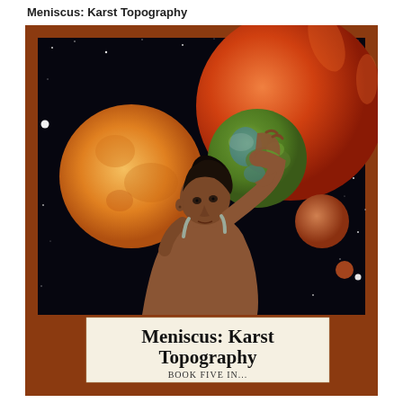Meniscus: Karst Topography
[Figure (illustration): Book cover illustration: a person with short dark hair holding up a green-and-brown planet (Earth-like) against a space background with stars, a large orange moon lower-left, a large red-orange sun upper-right, and a smaller reddish planet to the right. The figure appears to be a woman in a sleeveless top. The cover image is framed by a brown border. At the bottom of the cover is a cream/off-white title band reading 'Meniscus: Karst Topography' in bold serif font with 'Book Five in...' below in small-caps.]
Meniscus: Karst Topography
Book Five in...